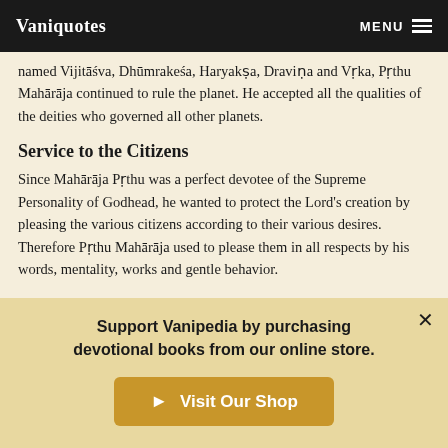Vaniquotes | MENU
named Vijitāśva, Dhūmrakeśa, Haryakṣa, Draviṇa and Vṛka, Pṛthu Mahārāja continued to rule the planet. He accepted all the qualities of the deities who governed all other planets.
Service to the Citizens
Since Mahārāja Pṛthu was a perfect devotee of the Supreme Personality of Godhead, he wanted to protect the Lord's creation by pleasing the various citizens according to their various desires. Therefore Pṛthu Mahārāja used to please them in all respects by his words, mentality, works and gentle behavior.
Glorious Position
Support Vanipedia by purchasing devotional books from our online store.
Visit Our Shop